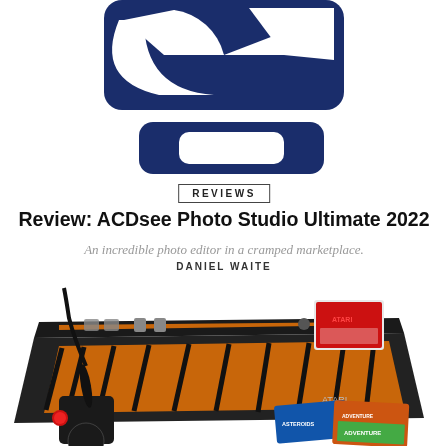[Figure (logo): Large blue stylized logo (resembling a camera aperture or abstract 'e' shape) in dark navy blue on white background]
REVIEWS
Review: ACDsee Photo Studio Ultimate 2022
An incredible photo editor in a cramped marketplace.
DANIEL WAITE
[Figure (photo): Atari 2600 Video Computer System game console with wood grain finish in orange/brown, joystick controller with red button, and game cartridges including Asteroids and Adventure]